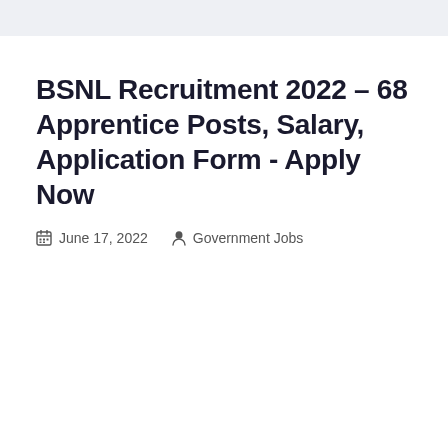BSNL Recruitment 2022 – 68 Apprentice Posts, Salary, Application Form - Apply Now
June 17, 2022   Government Jobs